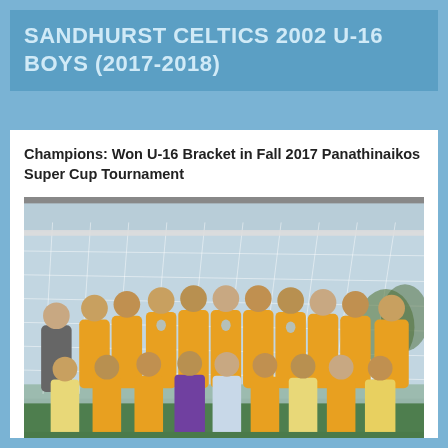SANDHURST CELTICS 2002 U-16 BOYS (2017-2018)
Champions: Won U-16 Bracket in Fall 2017 Panathinaikos Super Cup Tournament
[Figure (photo): Team photo of Sandhurst Celtics 2002 U-16 Boys soccer team posing in front of a soccer goal net. Players wearing gold/yellow jerseys and light blue shorts. One coach in gray shirt on the left. Two rows of players.]